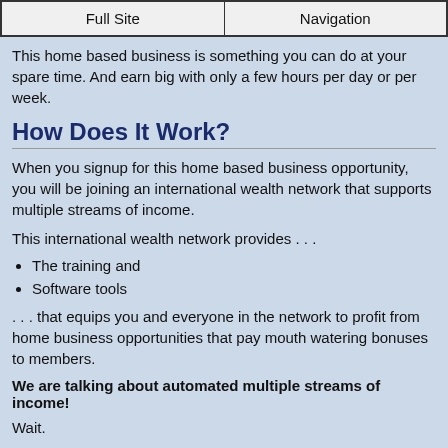Full Site | Navigation
This home based business is something you can do at your spare time. And earn big with only a few hours per day or per week.
How Does It Work?
When you signup for this home based business opportunity, you will be joining an international wealth network that supports multiple streams of income.
This international wealth network provides . . .
The training and
Software tools
. . . that equips you and everyone in the network to profit from home business opportunities that pay mouth watering bonuses to members.
We are talking about automated multiple streams of income!
Wait.